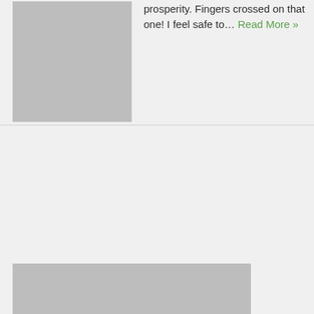prosperity. Fingers crossed on that one! I feel safe to… Read More »
[Figure (photo): Gray placeholder image in the top-left section]
[Figure (photo): Large gray placeholder image in the bottom section]